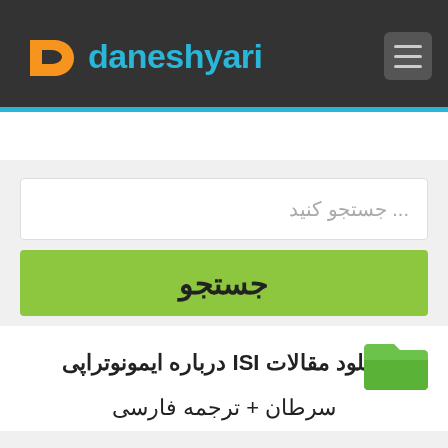[Figure (logo): Daneshyari logo with orange stylized 'd' icon and cyan text on dark header bar]
دانلود مقالات ISI درباره ایمونوتراپی
سرطان + ترجمه فارسی